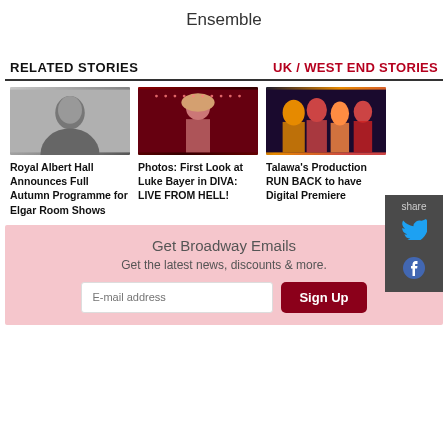Ensemble
RELATED STORIES
UK / WEST END STORIES
[Figure (photo): Black and white photo of a woman]
Royal Albert Hall Announces Full Autumn Programme for Elgar Room Shows
[Figure (photo): Singer on stage under red lights with headwrap]
Photos: First Look at Luke Bayer in DIVA: LIVE FROM HELL!
[Figure (photo): Group of performers in colorful costumes]
Talawa's Production RUN BACK to have Digital Premiere
Get Broadway Emails
Get the latest news, discounts & more.